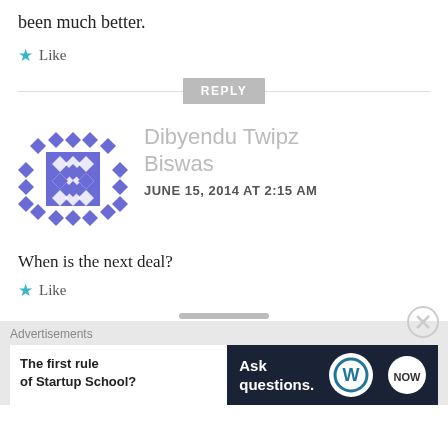been much better.
★ Like
REPLY
[Figure (illustration): Purple/blue geometric diamond pattern avatar for Dibyendu Twipz Biswas]
Dibyendu Twipz Biswas
JUNE 15, 2014 AT 2:15 AM
When is the next deal?
★ Like
Advertisements
The first rule of Startup School?
Ask questions.